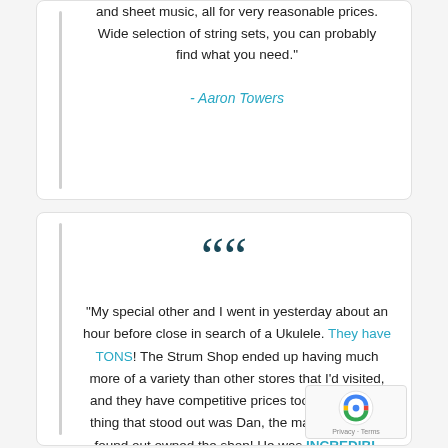and sheet music, all for very reasonable prices. Wide selection of string sets, you can probably find what you need."
- Aaron Towers
“My special other and I went in yesterday about an hour before close in search of a Ukulele. They have TONS! The Strum Shop ended up having much more of a variety than other stores that I’d visited, and they have competitive prices too! But the one thing that stood out was Dan, the man whom we found out owned the shop! He was INCREDIBLY